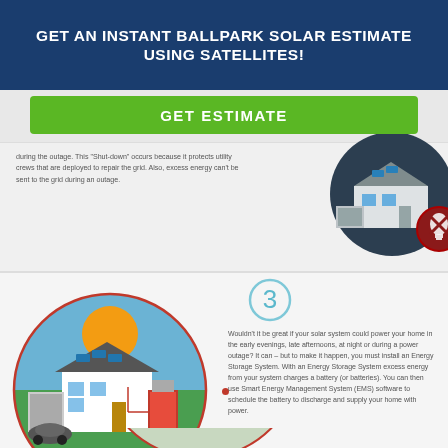GET AN INSTANT BALLPARK SOLAR ESTIMATE USING SATELLITES!
GET ESTIMATE
during the outage. This "shut-down" occurs because it protects utility crews that are deployed to repair the grid. Also, excess energy can't be sent to the grid during an outage.
[Figure (illustration): House with solar panels on roof, red circle with X over lightbulb icon indicating no power during outage]
[Figure (illustration): Large circular illustration showing a house with solar panels, battery storage system, electric car, sun in sky background, connected with red lines showing energy flow]
3
Wouldn't it be great if your solar system could power your home in the early evenings, late afternoons, at night or during a power outage? It can – but to make it happen, you must install an Energy Storage System. With an Energy Storage System excess energy from your system charges a battery (or batteries). You can then use Smart Energy Management System (EMS) software to schedule the battery to discharge and supply your home with power.
[Figure (illustration): Bottom partial circle illustration - continuation of infographic]